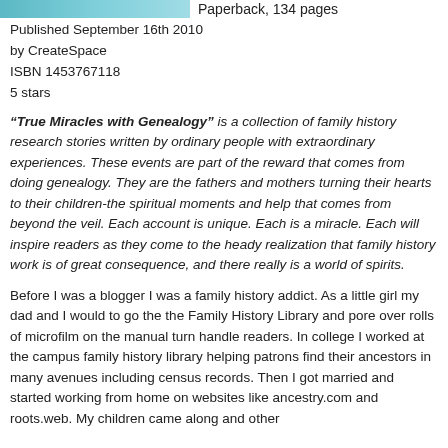[Figure (photo): Partial book cover image showing teal/blue water or sky background]
Paperback, 134 pages
Published September 16th 2010
by CreateSpace
ISBN 1453767118
5 stars
“True Miracles with Genealogy” is a collection of family history research stories written by ordinary people with extraordinary experiences. These events are part of the reward that comes from doing genealogy. They are the fathers and mothers turning their hearts to their children-the spiritual moments and help that comes from beyond the veil. Each account is unique. Each is a miracle. Each will inspire readers as they come to the heady realization that family history work is of great consequence, and there really is a world of spirits.
Before I was a blogger I was a family history addict. As a little girl my dad and I would to go the the Family History Library and pore over rolls of microfilm on the manual turn handle readers. In college I worked at the campus family history library helping patrons find their ancestors in many avenues including census records. Then I got married and started working from home on websites like ancestry.com and roots.web. My children came along and other